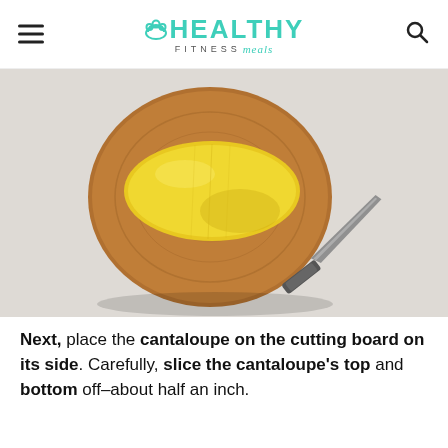HEALTHY FITNESS meals
[Figure (photo): A yellow cantaloupe/melon sitting on a round wooden cutting board, with a knife resting to the right on a light gray background. Top-down view.]
Next, place the cantaloupe on the cutting board on its side. Carefully, slice the cantaloupe's top and bottom off–about half an inch.